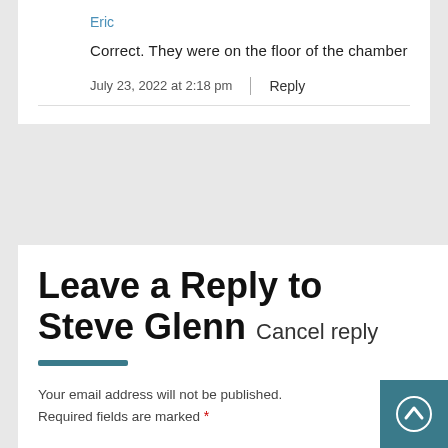Eric
Correct. They were on the floor of the chamber
July 23, 2022 at 2:18 pm  |  Reply
Leave a Reply to Steve Glenn Cancel reply
Your email address will not be published. Required fields are marked *